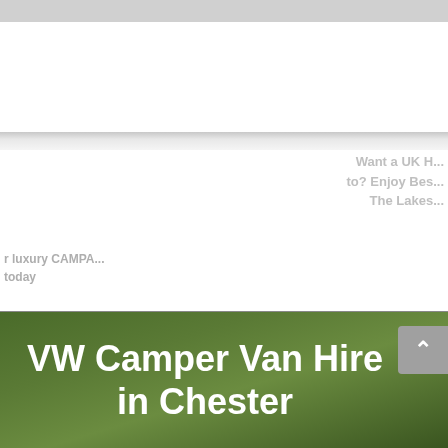[Figure (screenshot): Screenshot of a website about VW Camper Van Hire. Upper portion shows a white background with a sky/cloud strip and faded partially visible text on both left and right sides. Lower portion shows a dark green gradient background with the main title 'VW Camper Van Hire in Chester' in bold white text, and a grey scroll-up arrow button on the right.]
VW Camper Van Hire in Chester